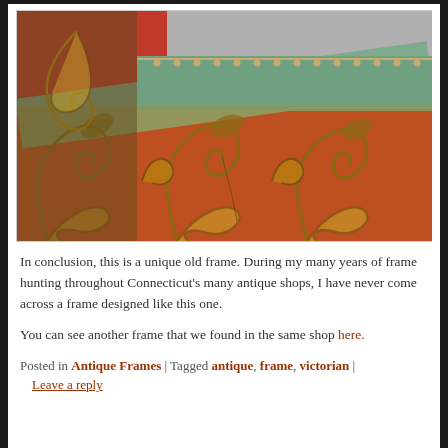[Figure (photo): Close-up photograph of an ornate antique picture frame with elaborate carved acanthus leaf scrollwork in gold/brown tones, with a teal/green painted inner border with beaded detail, resting on red fabric draped cloth.]
In conclusion, this is a unique old frame. During my many years of frame hunting throughout Connecticut's many antique shops, I have never come across a frame designed like this one.
You can see another frame that we found in the same shop here.
Posted in Antique Frames | Tagged antique, frame, victorian | Leave a reply